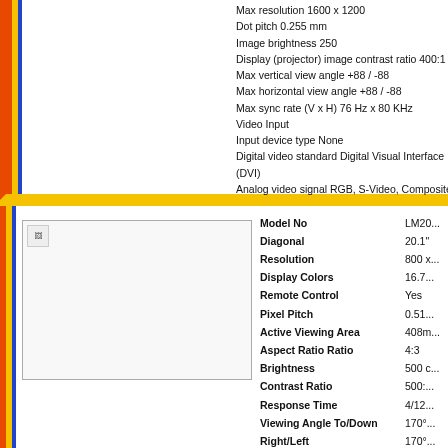Max resolution 1600 x 1200
Dot pitch 0.255 mm
Image brightness 250
Display (projector) image contrast ratio 400:1
Max vertical view angle +88 / -88
Max horizontal view angle +88 / -88
Max sync rate (V x H) 76 Hz x 80 KHz
Video Input
Input device type None
Digital video standard Digital Visual Interface (DVI)
Analog video signal RGB, S-Video, Composite video
Power
Power consumption operational 90 Watt
Operational power consumption (standby) 3 Watt
Connectivity
Built-in devices USB hub
[Figure (photo): Product image placeholder for LM20 monitor]
| Specification | Value |
| --- | --- |
| Model No | LM20... |
| Diagonal | 20.1" |
| Resolution | 800 x... |
| Display Colors | 16.7... |
| Remote Control | Yes |
| Pixel Pitch | 0.51... |
| Active Viewing Area | 408m... |
| Aspect Ratio Ratio | 4:3 |
| Brightness | 500 c... |
| Contrast Ratio | 500:... |
| Response Time | 4/12... |
| Viewing Angle To/Down | 170°... |
| Right/Left | 170°... |
| Lamp Life | 50,0... |
| Cable TV Tuner | Yes |